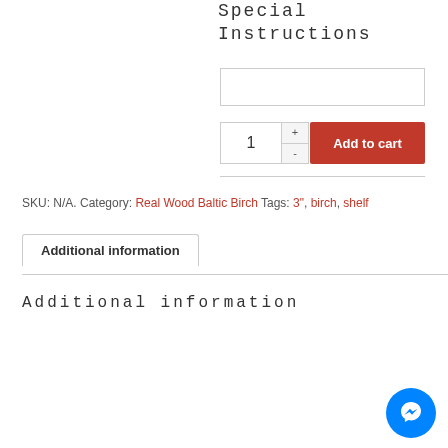Special Instructions
SKU: N/A. Category: Real Wood Baltic Birch Tags: 3", birch, shelf
Additional information
Additional information
|  |  |
| --- | --- |
| Weight | N/A |
| Dimensions | N/A |
| Range | Range Large (23-31), Range Medium (16-23), Range Small (0-16) |